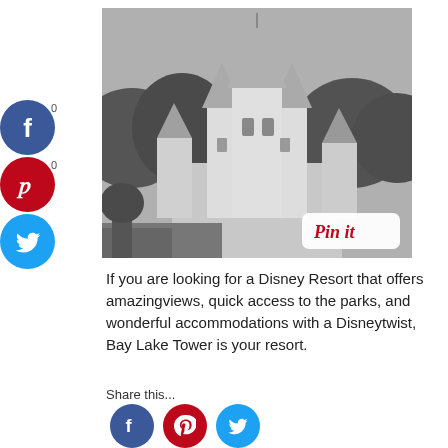[Figure (photo): Black and white photo of Cinderella's Castle at Disney World with trees in the background and a 'Pin it' button overlay in the bottom right corner.]
If you are looking for a Disney Resort that offers amazingviews, quick access to the parks, and wonderful accommodations with a Disneytwist, Bay Lake Tower is your resort.
Share this...
Looking For More Like This?